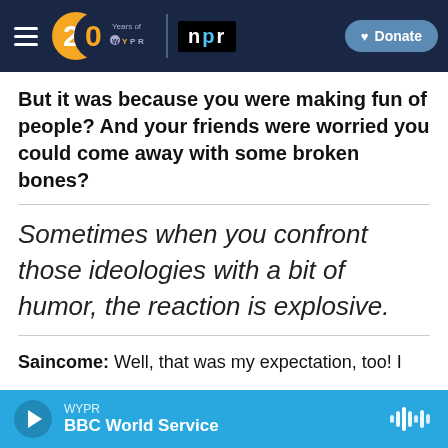[Figure (screenshot): WYPR 20 Years logo with NPR badge and Donate button navigation bar on dark navy background]
But it was because you were making fun of people? And your friends were worried you could come away with some broken bones?
Sometimes when you confront those ideologies with a bit of humor, the reaction is explosive.
Saincome: Well, that was my expectation, too! I
WYPR  BBC World Service